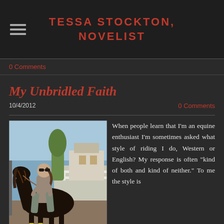TESSA STOCKTON, NOVELIST
0 Comments
My Unbridled Faith
10/4/2012
0 Comments
[Figure (photo): A woman with sunglasses riding a dark horse in an outdoor setting with a white fence and buildings in the background.]
When people learn that I'm an equine enthusiast I'm sometimes asked what style of riding I do, Western or English? My response is often "kind of both and kind of neither." To me the style is